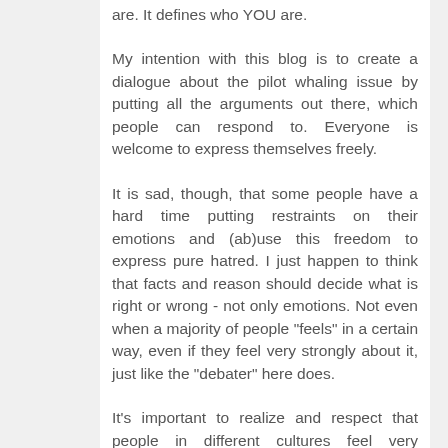are. It defines who YOU are.
My intention with this blog is to create a dialogue about the pilot whaling issue by putting all the arguments out there, which people can respond to. Everyone is welcome to express themselves freely.
It is sad, though, that some people have a hard time putting restraints on their emotions and (ab)use this freedom to express pure hatred. I just happen to think that facts and reason should decide what is right or wrong - not only emotions. Not even when a majority of people "feels" in a certain way, even if they feel very strongly about it, just like the "debater" here does.
It's important to realize and respect that people in different cultures feel very differently, and it is very, very difficult to argue and reach any agreement on the basis of feelings and emotions.
That's why I believe that our best chance to